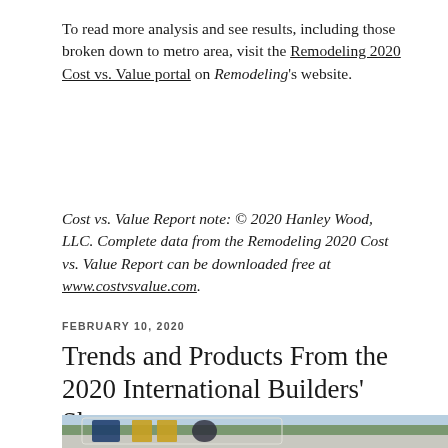To read more analysis and see results, including those broken down to metro area, visit the Remodeling 2020 Cost vs. Value portal on Remodeling's website.
Cost vs. Value Report note: © 2020 Hanley Wood, LLC. Complete data from the Remodeling 2020 Cost vs. Value Report can be downloaded free at www.costvsvalue.com.
FEBRUARY 10, 2020
Trends and Products From the 2020 International Builders' Show
[Figure (photo): Outdoor photo of the International Builders' Show signage with large letters visible (IB...) against a sky with trees in the background.]